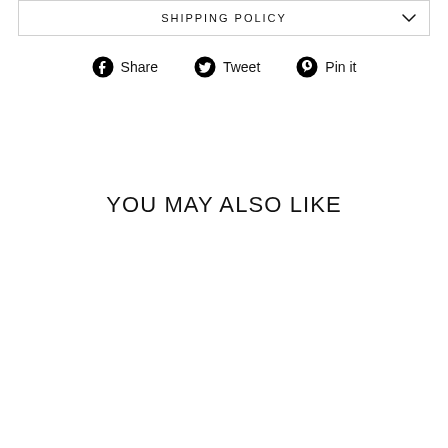SHIPPING POLICY
Share  Tweet  Pin it
YOU MAY ALSO LIKE